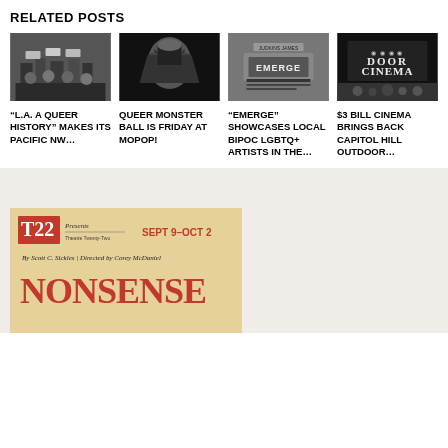RELATED POSTS
[Figure (photo): Black and white protest crowd photo]
“L.A. A QUEER HISTORY” MAKES ITS PACIFIC NW…
[Figure (photo): Black and white portrait with hand covering face]
QUEER MONSTER BALL IS FRIDAY AT MOPOP!
[Figure (photo): Emerge showcase graphic]
“EMERGE” SHOWCASES LOCAL BIPOC LGBTQ+ ARTISTS IN THE…
[Figure (photo): Door Cinema outdoor venue photo]
$3 BILL CINEMA BRINGS BACK CAPITOL HILL OUTDOOR…
[Figure (photo): T22 theater advertisement: SEPT 9–OCT 2, Nonsense, By Scott C. Sickles, Directed by Corey McDaniel]